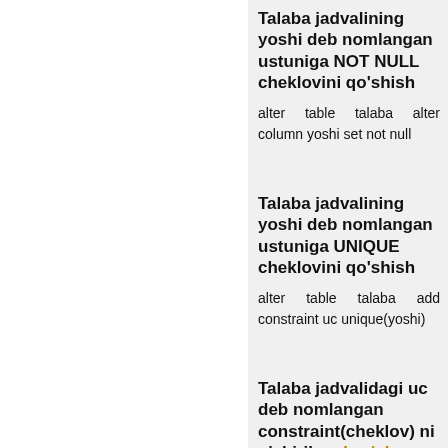Talaba jadvalining yoshi deb nomlangan ustuniga NOT NULL cheklovini qo'shish
alter table talaba alter column yoshi set not null
Talaba jadvalining yoshi deb nomlangan ustuniga UNIQUE cheklovini qo'shish
alter table talaba add constraint uc unique(yoshi)
Talaba jadvalidagi uc deb nomlangan constraint(cheklov) ni o'chirib yuborish
alter table talaba drop